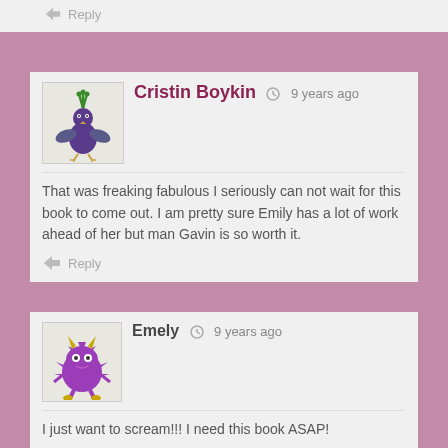Reply
Cristin Boykin  9 years ago
That was freaking fabulous I seriously can not wait for this book to come out. I am pretty sure Emily has a lot of work ahead of her but man Gavin is so worth it.
Reply
Emely  9 years ago
I just want to scream!!! I need this book ASAP!
Reply